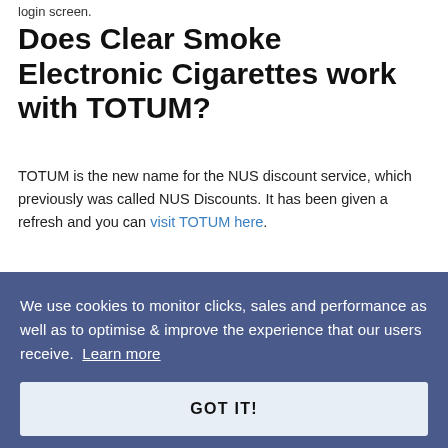login screen.
Does Clear Smoke Electronic Cigarettes work with TOTUM?
TOTUM is the new name for the NUS discount service, which previously was called NUS Discounts. It has been given a refresh and you can visit TOTUM here.
At the time of writing, we were not able to locate a Clear [Smoke Electronic Cigarettes listing on a network that] works. [We would suggest checking their website directly for] [discounts. We will update this page as we discover th]at [...]
We use cookies to monitor clicks, sales and performance as well as to optimise & improve the experience that our users receive. Learn more
GOT IT!
Clear Smoke Electronic Cigarettes may also offer voucher